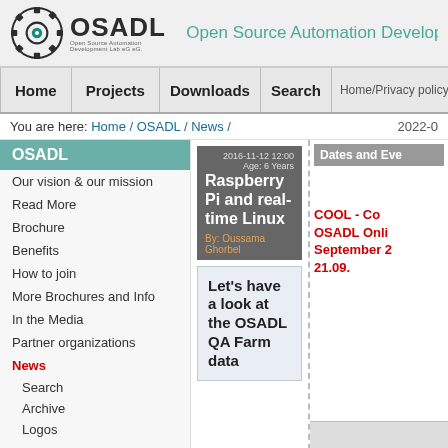OSADL - Open Source Automation Development Lab (O...
Home | Projects | Downloads | Search
You are here: Home / OSADL / News /     2022-0...
OSADL
Our vision & our mission
Read More
Brochure
Benefits
How to join
More Brochures and Info
In the Media
Partner organizations
News
Search
Archive
Logos
2016-11-12 12:00 Age: 6 Years
Raspberry Pi and real-time Linux
By: Oussama Ghorbel
Let's have a look at the OSADL QA Farm data
Dates and Eve...
COOL - Co...
OSADL Onli...
September 2...
21.09.